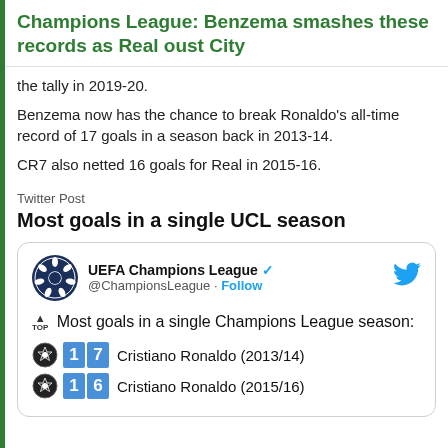Champions League: Benzema smashes these records as Real oust City
the tally in 2019-20.
Benzema now has the chance to break Ronaldo's all-time record of 17 goals in a season back in 2013-14.
CR7 also netted 16 goals for Real in 2015-16.
Twitter Post
Most goals in a single UCL season
[Figure (screenshot): Embedded tweet from UEFA Champions League (@ChampionsLeague) showing most goals in a single Champions League season: Cristiano Ronaldo 17 (2013/14) and Cristiano Ronaldo 16 (2015/16)]